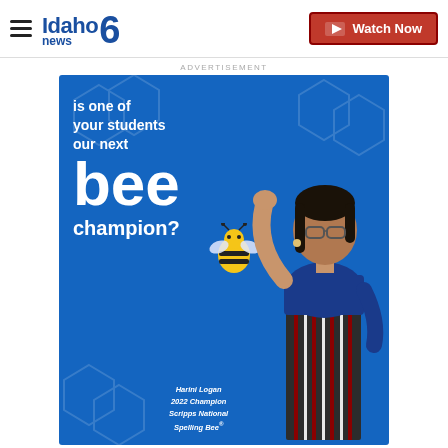[Figure (screenshot): Idaho News 6 website navigation bar with hamburger menu, logo, and Watch Now button]
ADVERTISEMENT
[Figure (photo): Scripps National Spelling Bee advertisement on blue background. Text reads: 'is one of your students our next bee champion?' with a bee mascot graphic and a photo of Harini Logan, 2022 Champion Scripps National Spelling Bee.]